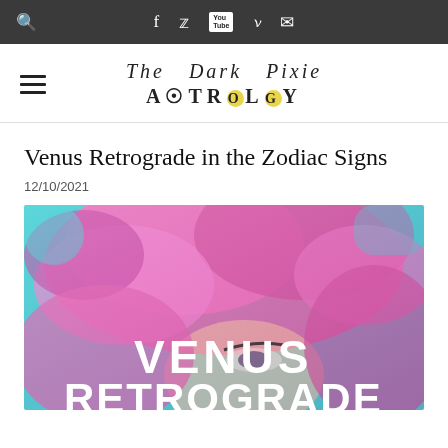Navigation bar with search, Facebook, Twitter, YouTube, Pinterest, Email icons
[Figure (logo): The Dark Pixie Astrology logo with hamburger menu icon on left]
Venus Retrograde in the Zodiac Signs
12/10/2021
[Figure (photo): Featured article image: person with pink/magenta fluffy hair against teal background with white bold text 'VENUS RETROGRADE']